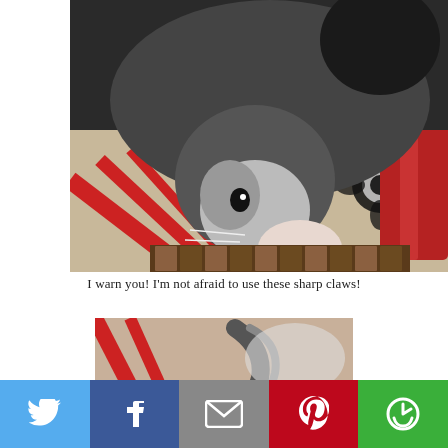[Figure (photo): A gray and white cat leaning down with one paw extended onto what appears to be piano keys or a wooden slatted surface. The background shows a colorful fabric with red stripes and black flower patterns.]
I warn you! I'm not afraid to use these sharp claws!
[Figure (photo): Partial view of a second photo showing a cat's tail and patterned fabric background with red stripes.]
[Figure (infographic): Social media share bar with five buttons: Twitter (blue bird icon), Facebook (blue f icon), Email (grey envelope icon), Pinterest (red P icon), and More (green circular arrow icon).]